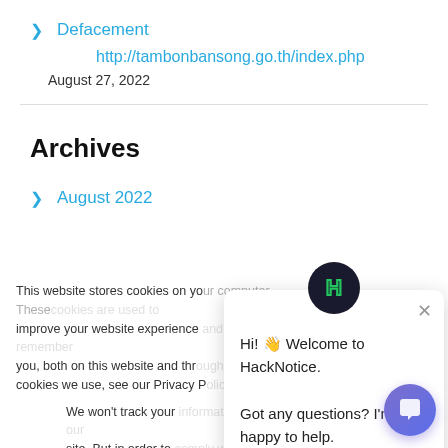> Defacement
http://tambonbansong.go.th/index.php
August 27, 2022
Archives
> August 2022
This website stores cookies on your computer. These cookies are used to improve your website experience you, both on this website and through other media. To find out more about the cookies we use, see our Privacy P...
We won't track your... site. But in order to... we'll have to use just... not asked to make this choice again.
[Figure (screenshot): Cookie consent dialog with Accept (green button) and Decline (outlined green button) options]
[Figure (screenshot): HackNotice chat popup with dark circular H logo icon and message: Hi! Welcome to HackNotice. Got any questions? I'm happy to help.]